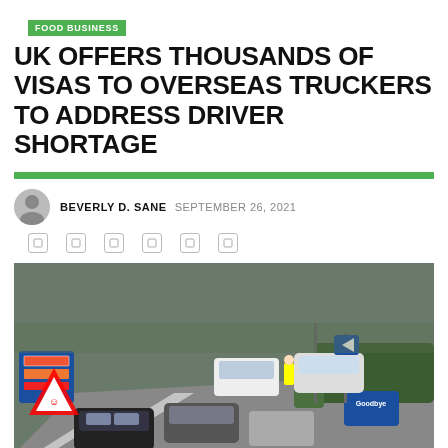FOOD BUSINESS
UK OFFERS THOUSANDS OF VISAS TO OVERSEAS TRUCKERS TO ADDRESS DRIVER SHORTAGE
BEVERLY D. SANE  SEPTEMBER 26, 2021
[Figure (photo): Cars queuing on a road near a petrol station with blue signage showing fuel prices, road signs visible, green shrubbery in background, a Goodbye sign visible on the right side.]